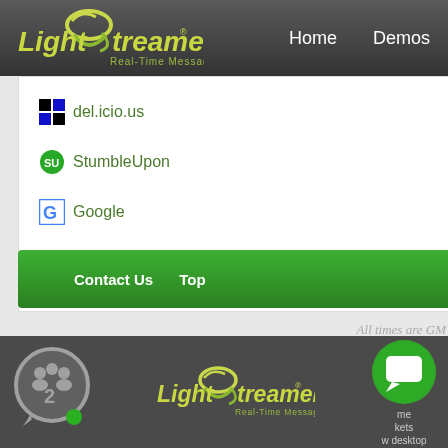[Figure (logo): LightStreamer Real-Time Messaging logo in header, with green/yellow swirl design on dark gray background]
Home   Demos
del.icio.us
StumbleUpon
Google
Contact Us   Top
All times are GM
[Figure (illustration): Chat bubble icon with number 2 and green dot indicator]
[Figure (logo): LightStreamer Real-Time Messaging logo in bottom footer]
[Figure (illustration): Chat/messaging icon button in green circle, with partial text 'me kets w desktop']